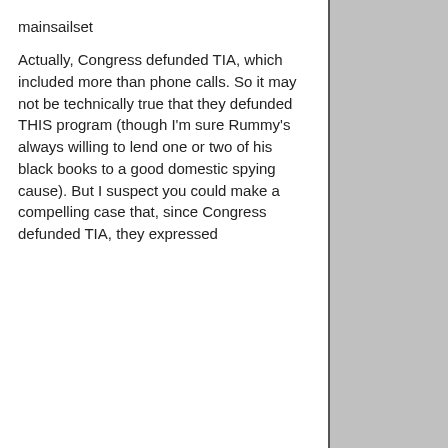mainsailset
Actually, Congress defunded TIA, which included more than phone calls. So it may not be technically true that they defunded THIS program (though I'm sure Rummy's always willing to lend one or two of his black books to a good domestic spying cause). But I suspect you could make a compelling case that, since Congress defunded TIA, they expressed